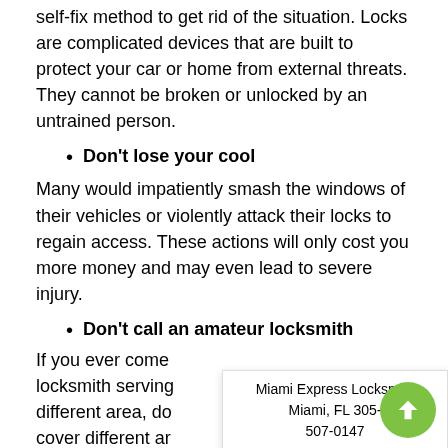self-fix method to get rid of the situation. Locks are complicated devices that are built to protect your car or home from external threats. They cannot be broken or unlocked by an untrained person.
Don't lose your cool
Many would impatiently smash the windows of their vehicles or violently attack their locks to regain access. These actions will only cost you more money and may even lead to severe injury.
Don't call an amateur locksmith
If you ever come [across a locksmith serving a] different area, do [not trust them to] cover different ar[eas and reach your] location on time [...]
Miami Express Locksmith Miami, FL 305-507-0147
Always call a